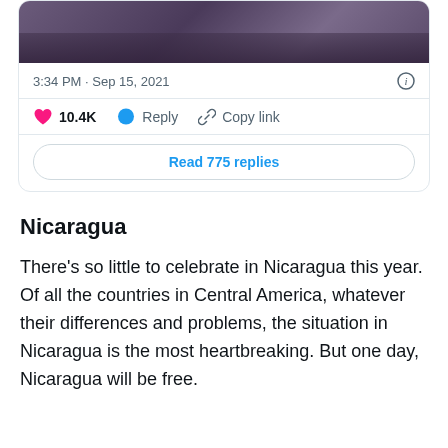[Figure (screenshot): Tweet card showing a photo (partially cropped person in dark outfit), timestamp '3:34 PM · Sep 15, 2021', info icon, like count 10.4K with heart icon, Reply button with chat bubble icon, Copy link with chain icon, and Read 775 replies button]
Nicaragua
There's so little to celebrate in Nicaragua this year. Of all the countries in Central America, whatever their differences and problems, the situation in Nicaragua is the most heartbreaking. But one day, Nicaragua will be free.